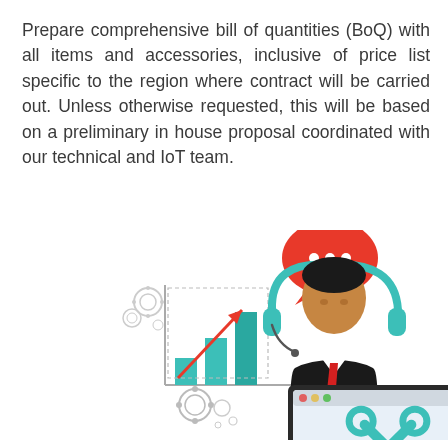Prepare comprehensive bill of quantities (BoQ) with all items and accessories, inclusive of price list specific to the region where contract will be carried out. Unless otherwise requested, this will be based on a preliminary in house proposal coordinated with our technical and IoT team.
[Figure (illustration): An illustration showing a bar chart with an upward trending red arrow and teal bars on the left, and a customer support agent wearing a headset with a red speech bubble containing three dots, sitting behind a laptop displaying a wrench/tools icon, on the right.]